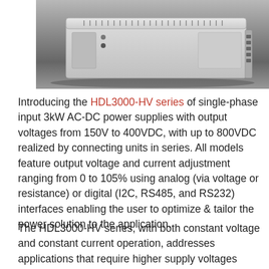[Figure (photo): Photo of HDL3000-HV series power supply unit — a white/grey rectangular metal enclosure with ventilation slots on top, photographed from a slight angle on a dark surface.]
Introducing the HDL3000-HV series of single-phase input 3kW AC-DC power supplies with output voltages from 150V to 400VDC, with up to 800VDC realized by connecting units in series. All models feature output voltage and current adjustment ranging from 0 to 105% using analog (via voltage or resistance) or digital (I2C, RS485, and RS232) interfaces enabling the user to optimize & tailor the power solution to the application.
The HDL3000-HV series, with both constant voltage and constant current operation, addresses applications that require higher supply voltages including battery test and simulation systems, test